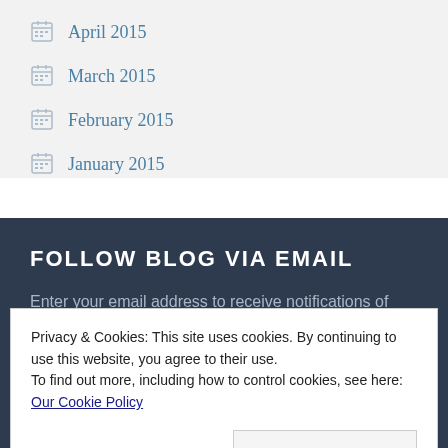April 2015
March 2015
February 2015
January 2015
FOLLOW BLOG VIA EMAIL
Enter your email address to receive notifications of new posts by email.
Privacy & Cookies: This site uses cookies. By continuing to use this website, you agree to their use.
To find out more, including how to control cookies, see here: Our Cookie Policy
Close and accept